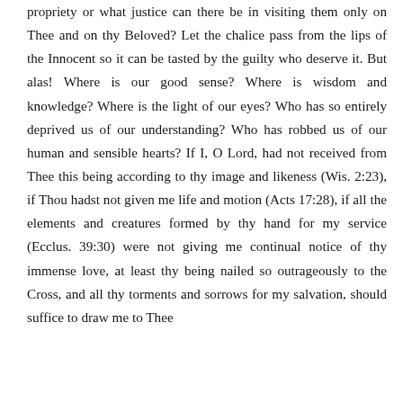propriety or what justice can there be in visiting them only on Thee and on thy Beloved? Let the chalice pass from the lips of the Innocent so it can be tasted by the guilty who deserve it. But alas! Where is our good sense? Where is wisdom and knowledge? Where is the light of our eyes? Who has so entirely deprived us of our understanding? Who has robbed us of our human and sensible hearts? If I, O Lord, had not received from Thee this being according to thy image and likeness (Wis. 2:23), if Thou hadst not given me life and motion (Acts 17:28), if all the elements and creatures formed by thy hand for my service (Ecclus. 39:30) were not giving me continual notice of thy immense love, at least thy being nailed so outrageously to the Cross, and all thy torments and sorrows for my salvation, should suffice to draw me to Thee